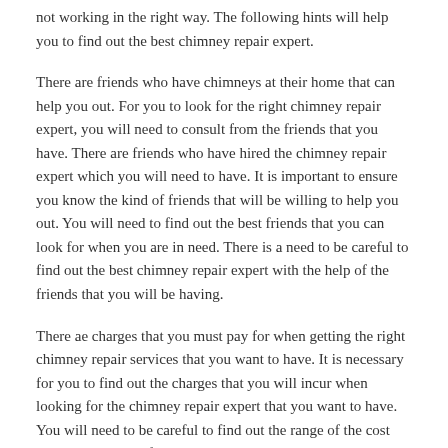not working in the right way. The following hints will help you to find out the best chimney repair expert.
There are friends who have chimneys at their home that can help you out. For you to look for the right chimney repair expert, you will need to consult from the friends that you have. There are friends who have hired the chimney repair expert which you will need to have. It is important to ensure you know the kind of friends that will be willing to help you out. You will need to find out the best friends that you can look for when you are in need. There is a need to be careful to find out the best chimney repair expert with the help of the friends that you will be having.
There ae charges that you must pay for when getting the right chimney repair services that you want to have. It is necessary for you to find out the charges that you will incur when looking for the chimney repair expert that you want to have. You will need to be careful to find out the range of the cost that you will have for the chimney repair expert which you are looking for. Here are several services that you will need to pay for. You should ensure you look for the best chimney repair expert that can be affordable to you. There is a need to ensure from the cost that you will need to look...